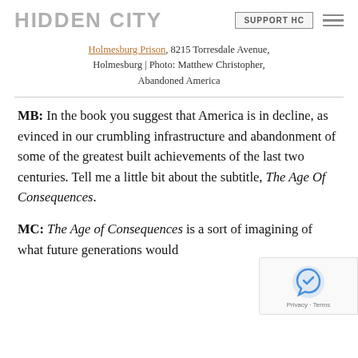HIDDEN CITY  SUPPORT HC
Holmesburg Prison, 8215 Torresdale Avenue, Holmesburg | Photo: Matthew Christopher, Abandoned America
MB: In the book you suggest that America is in decline, as evinced in our crumbling infrastructure and abandonment of some of the greatest built achievements of the last two centuries. Tell me a little bit about the subtitle, The Age Of Consequences.
MC: The Age of Consequences is a sort of imagining of what future generations would